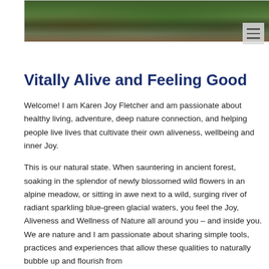[Figure (photo): A nature/outdoor photo banner showing a person in a forested or natural setting with green foliage]
Vitally Alive and Feeling Good
Welcome! I am Karen Joy Fletcher and am passionate about healthy living, adventure, deep nature connection, and helping people live lives that cultivate their own aliveness, wellbeing and inner Joy.
This is our natural state. When sauntering in ancient forest, soaking in the splendor of newly blossomed wild flowers in an alpine meadow, or sitting in awe next to a wild, surging river of radiant sparkling blue-green glacial waters, you feel the Joy, Aliveness and Wellness of Nature all around you – and inside you. We are nature and I am passionate about sharing simple tools, practices and experiences that allow these qualities to naturally bubble up and flourish from